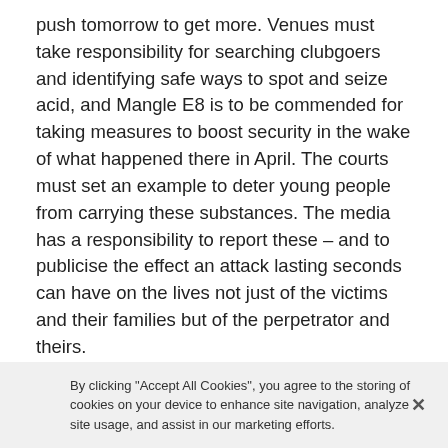push tomorrow to get more. Venues must take responsibility for searching clubgoers and identifying safe ways to spot and seize acid, and Mangle E8 is to be commended for taking measures to boost security in the wake of what happened there in April. The courts must set an example to deter young people from carrying these substances. The media has a responsibility to report these – and to publicise the effect an attack lasting seconds can have on the lives not just of the victims and their families but of the perpetrator and theirs.
But families and friends also have a duty to intervene if they suspect someone they love is carrying this devastating weapon. I am sure Arthur Collins' sister is
By clicking "Accept All Cookies", you agree to the storing of cookies on your device to enhance site navigation, analyze site usage, and assist in our marketing efforts.